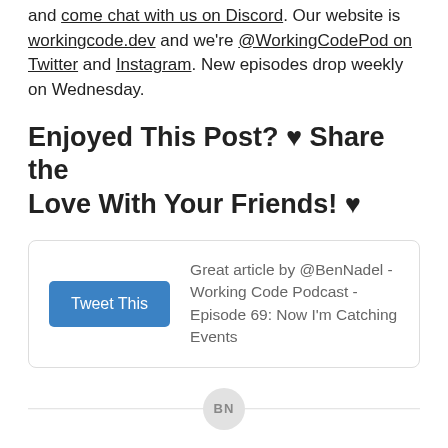and come chat with us on Discord. Our website is workingcode.dev and we're @WorkingCodePod on Twitter and Instagram. New episodes drop weekly on Wednesday.
Enjoyed This Post? ♥ Share the Love With Your Friends! ♥
Tweet This — Great article by @BenNadel - Working Code Podcast - Episode 69: Now I'm Catching Events
BN
Reader Comments